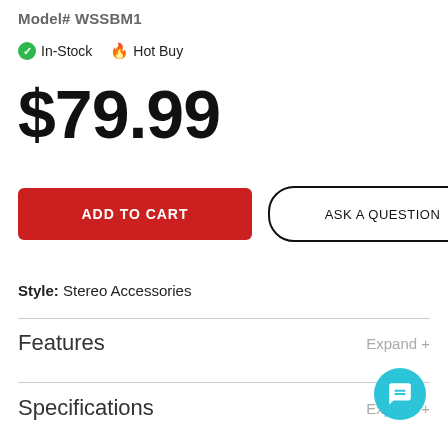Model# WSSBM1
In-Stock   Hot Buy
$79.99
ADD TO CART
ASK A QUESTION
Style: Stereo Accessories
Features
Expand +
Specifications
Expand +